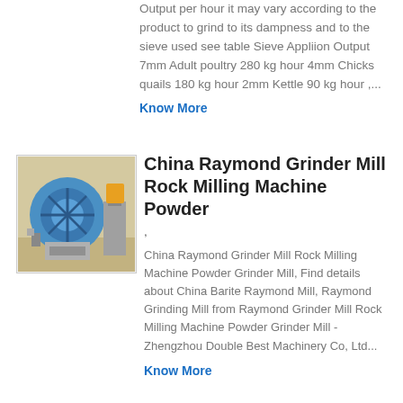Output per hour it may vary according to the product to grind to its dampness and to the sieve used see table Sieve Appliion Output 7mm Adult poultry 280 kg hour 4mm Chicks quails 180 kg hour 2mm Kettle 90 kg hour ,...
Know More
[Figure (photo): Photo of a Raymond Grinder Mill / Rock Milling Machine - industrial grinding equipment shown with blue components in an outdoor/industrial setting]
China Raymond Grinder Mill Rock Milling Machine Powder
,
China Raymond Grinder Mill Rock Milling Machine Powder Grinder Mill, Find details about China Barite Raymond Mill, Raymond Grinding Mill from Raymond Grinder Mill Rock Milling Machine Powder Grinder Mill - Zhengzhou Double Best Machinery Co, Ltd...
Know More